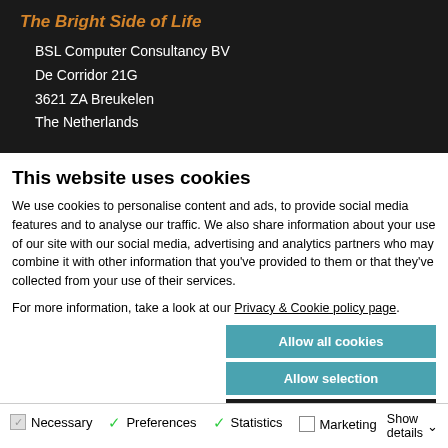The Bright Side of Life
BSL Computer Consultancy BV
De Corridor 21G
3621 ZA Breukelen
The Netherlands
This website uses cookies
We use cookies to personalise content and ads, to provide social media features and to analyse our traffic. We also share information about your use of our site with our social media, advertising and analytics partners who may combine it with other information that you've provided to them or that they've collected from your use of their services.
For more information, take a look at our Privacy & Cookie policy page.
Allow all cookies
Allow selection
Use necessary cookies only
Necessary  Preferences  Statistics  Marketing  Show details